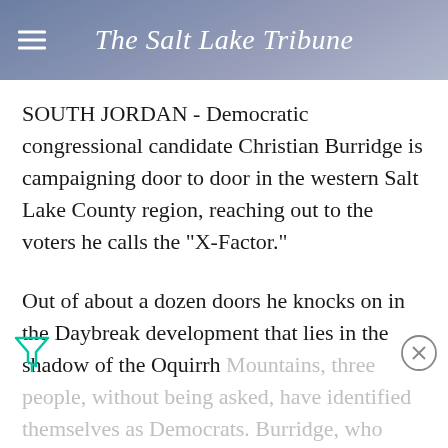The Salt Lake Tribune
SOUTH JORDAN - Democratic congressional candidate Christian Burridge is campaigning door to door in the western Salt Lake County region, reaching out to the voters he calls the "X-Factor."
Out of about a dozen doors he knocks on in the Daybreak development that lies in the shadow of the Oquirrh Mountains, three people, without being asked, have identified themselves as Democrats. Burridge, who once lived in Price, bonds with Anthony Peterson, a Price